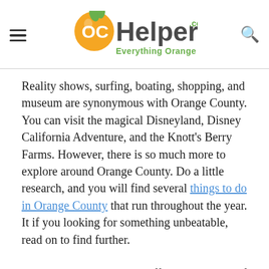OCHelper.com — Everything Orange County
Reality shows, surfing, boating, shopping, and museum are synonymous with Orange County. You can visit the magical Disneyland, Disney California Adventure, and the Knott's Berry Farms. However, there is so much more to explore around Orange County. Do a little research, and you will find several things to do in Orange County that run throughout the year. It if you looking for something unbeatable, read on to find further.
Were you ever able to get off the main spots of the OC tourism and check out some of the secret spots and the hidden restaurants